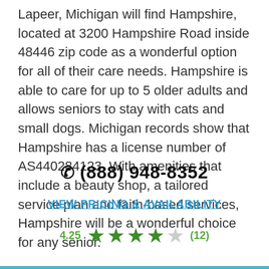Lapeer, Michigan will find Hampshire, located at 3200 Hampshire Road inside 48446 zip code as a wonderful option for all of their care needs. Hampshire is able to care for up to 5 older adults and allows seniors to stay with cats and small dogs. Michigan records show that Hampshire has a license number of AS440284123. With amenities that include a beauty shop, a tailored service plan and faith-based services, Hampshire will be a wonderful choice for any senior.
(888) 948-8352
VIEW PRICING & AVAILABILITY
4.25 ★★★★☆ (12)